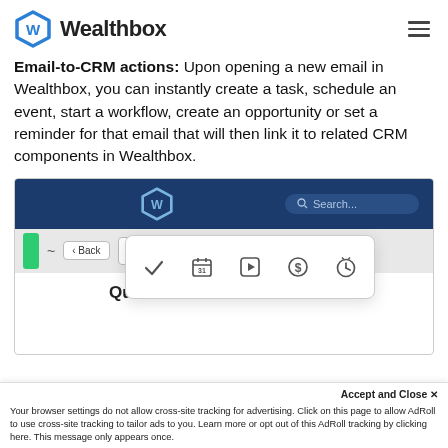Wealthbox
Email-to-CRM actions: Upon opening a new email in Wealthbox, you can instantly create a task, schedule an event, start a workflow, create an opportunity or set a reminder for that email that will then link it to related CRM components in Wealthbox.
[Figure (screenshot): Screenshot of Wealthbox CRM web application showing a navy header bar with Wealthbox logo and search box, a gray toolbar with Back button and action icons, a floating popup toolbar showing 5 action icons (checkmark/task, calendar/event, play/workflow, dollar/opportunity, clock/reminder), and an email subject line 'Questions About Retirement']
Accept and Close ✕
Your browser settings do not allow cross-site tracking for advertising. Click on this page to allow AdRoll to use cross-site tracking to tailor ads to you. Learn more or opt out of this AdRoll tracking by clicking here. This message only appears once.